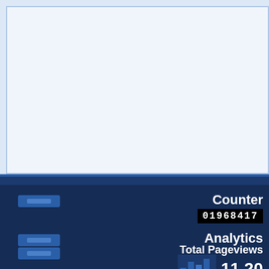[Figure (screenshot): Top panel showing a light blue/white chart area with a darker blue border and frame — appears to be the top portion of a web analytics dashboard screenshot showing a graph area.]
Counter
01968417
Analytics
Total Pageviews
11,20